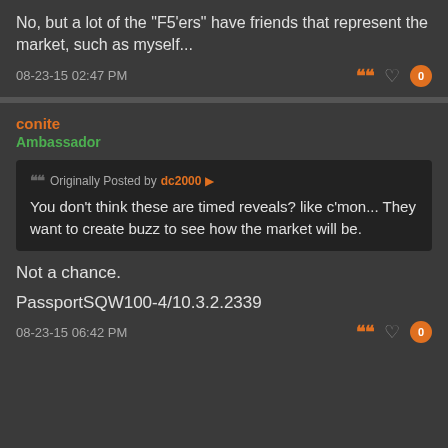No, but a lot of the "F5'ers" have friends that represent the market, such as myself...
08-23-15 02:47 PM
conite
Ambassador
Originally Posted by dc2000
You don't think these are timed reveals? like c'mon... They want to create buzz to see how the market will be.
Not a chance.
PassportSQW100-4/10.3.2.2339
08-23-15 06:42 PM